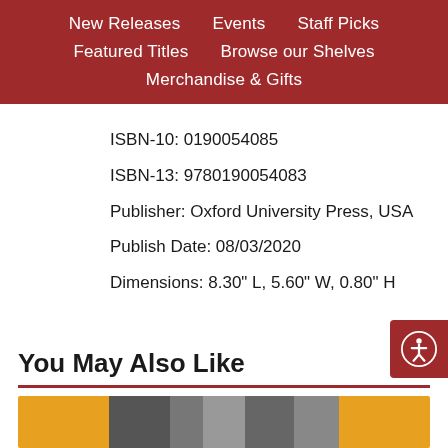New Releases  Events  Staff Picks  Featured Titles  Browse our Shelves  Merchandise & Gifts
ISBN-10: 0190054085
ISBN-13: 9780190054083
Publisher: Oxford University Press, USA
Publish Date: 08/03/2020
Dimensions: 8.30" L, 5.60" W, 0.80" H
You May Also Like
[Figure (photo): Book cover preview strip showing colored book spines]